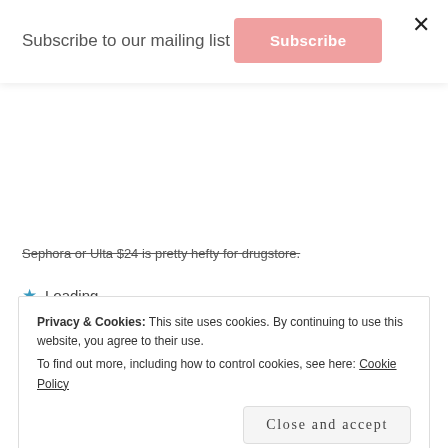Subscribe to our mailing list
Subscribe
Sephora or Ulta $24 is pretty hefty for drugstore.
Loading...
REPLY
ALWAYSCLEIA
AUTHOR
MARCH 18, 2019 / 6:49 PM
Privacy & Cookies: This site uses cookies. By continuing to use this website, you agree to their use. To find out more, including how to control cookies, see here: Cookie Policy
Close and accept
I wish they were at Sephora or Ulta too!